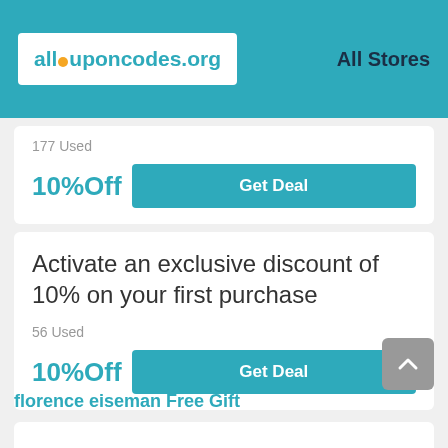allcouponcodes.org  All Stores
177 Used
10%Off
Get Deal
Activate an exclusive discount of 10% on your first purchase
56 Used
10%Off
Get Deal
florence eiseman Free Gift